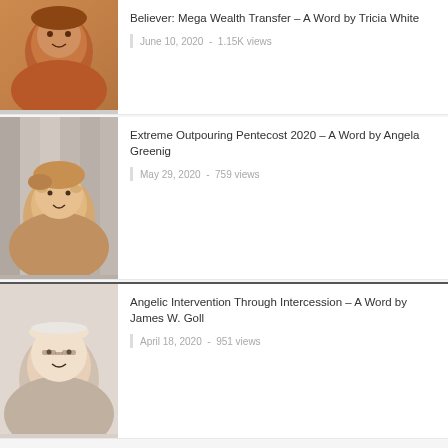[Figure (photo): Portrait photo of Tricia White, a smiling Black woman with curly red/brown hair]
Believer: Mega Wealth Transfer – A Word by Tricia White
June 10, 2020  -  1.15K views
[Figure (photo): Portrait photo of Angela Greenig, a smiling woman with blonde/brown hair]
Extreme Outpouring Pentecost 2020 – A Word by Angela Greenig
May 29, 2020  -  759 views
[Figure (photo): Portrait photo of James W. Goll, a smiling older bald man with glasses]
Angelic Intervention Through Intercession – A Word by James W. Goll
April 18, 2020  -  951 views
< 1 2 3 4 ... 6 >
Page 2 of 6
SUBSCRIBE